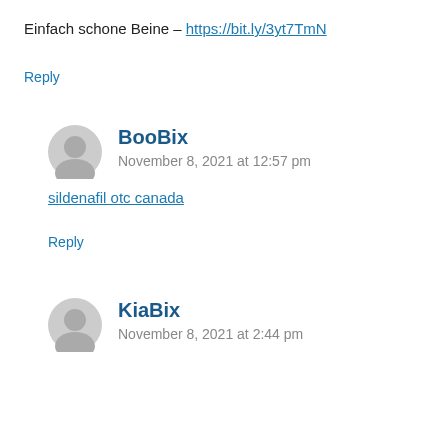Einfach schone Beine – https://bit.ly/3yt7TmN
Reply
BooBix
November 8, 2021 at 12:57 pm
sildenafil otc canada
Reply
KiaBix
November 8, 2021 at 2:44 pm